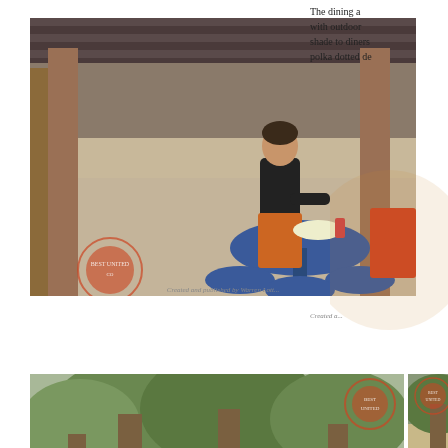[Figure (photo): Person sitting at a round blue outdoor dining table eating food, with red trash receptacle nearby, canopy awning visible in background]
The dining a with outdoor shade to diners polka dotted de
[Figure (photo): Crowd of park visitors walking along a shaded pathway lined with tall trees, food stands visible in background]
[Figure (photo): Outdoor dining area with blue round tables and stools under a covered pavilion with striped umbrellas]